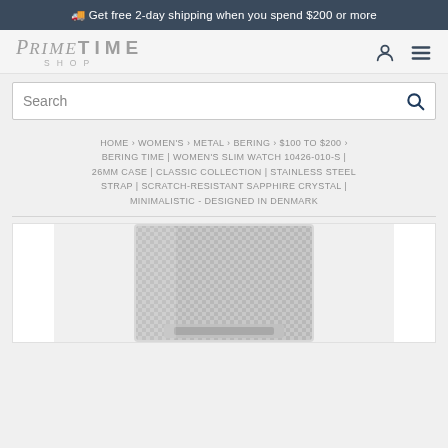🚚 Get free 2-day shipping when you spend $200 or more
[Figure (logo): Prime Time Shop logo in gray italic/serif font with 'SHOP' below in spaced capitals]
Search
HOME › WOMEN'S › METAL › BERING › $100 TO $200 › BERING TIME | WOMEN'S SLIM WATCH 10426-010-S | 26MM CASE | CLASSIC COLLECTION | STAINLESS STEEL STRAP | SCRATCH-RESISTANT SAPPHIRE CRYSTAL | MINIMALISTIC - DESIGNED IN DENMARK
[Figure (photo): Close-up photo of a silver stainless steel mesh watch strap/bracelet from a Bering watch]